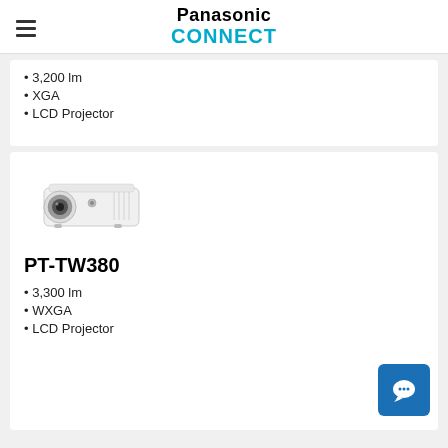Panasonic CONNECT
3,200 lm
XGA
LCD Projector
[Figure (photo): White LCD projector PT-TW380 facing left with lens visible]
PT-TW380
3,300 lm
WXGA
LCD Projector